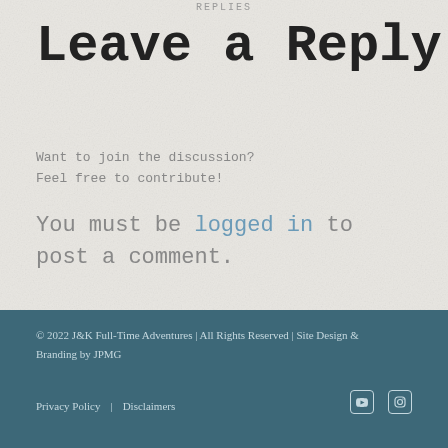REPLIES
Leave a Reply
Want to join the discussion?
Feel free to contribute!
You must be logged in to post a comment.
© 2022 J&K Full-Time Adventures | All Rights Reserved | Site Design & Branding by JPMG
Privacy Policy | Disclaimers